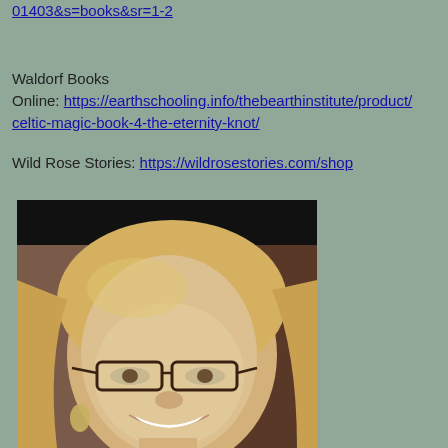01403&s=books&sr=1-2
Waldorf Books
Online: https://earthschooling.info/thebearthinstitute/product/celtic-magic-book-4-the-eternity-knot/
Wild Rose Stories: https://wildrosestories.com/shop
[Figure (photo): Portrait photo of a smiling blonde woman with glasses wearing earrings, against a warm indoor background. Top portion of the photo is obscured by a black bar.]